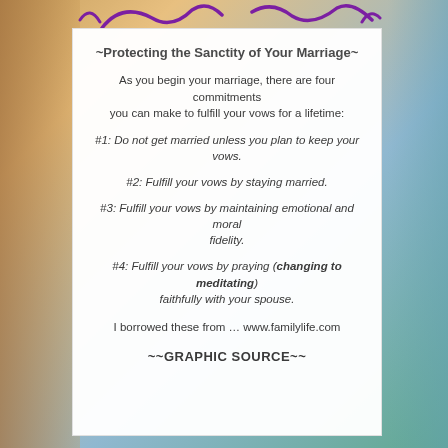~Protecting the Sanctity of Your Marriage~
As you begin your marriage, there are four commitments you can make to fulfill your vows for a lifetime:
#1: Do not get married unless you plan to keep your vows.
#2: Fulfill your vows by staying married.
#3: Fulfill your vows by maintaining emotional and moral fidelity.
#4: Fulfill your vows by praying (changing to meditating) faithfully with your spouse.
I borrowed these from … www.familylife.com
~~GRAPHIC SOURCE~~